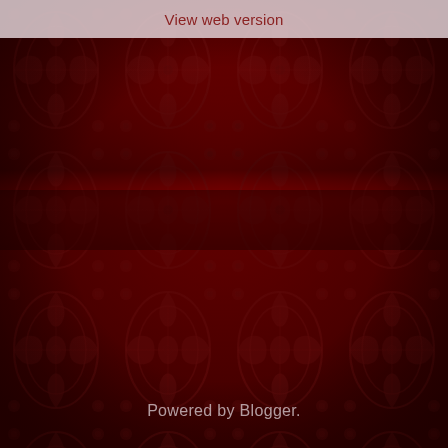View web version
[Figure (illustration): Dark crimson red damask wallpaper pattern with ornate floral and scrollwork motifs repeated in a grid, showing a perspective/reflection effect in the middle horizontal band]
Powered by Blogger.